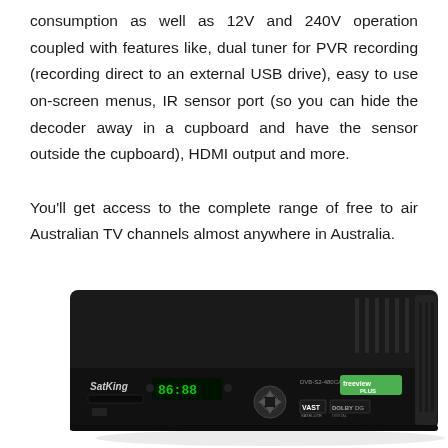consumption as well as 12V and 240V operation coupled with features like, dual tuner for PVR recording (recording direct to an external USB drive), easy to use on-screen menus, IR sensor port (so you can hide the decoder away in a cupboard and have the sensor outside the cupboard), HDMI output and more.

You'll get access to the complete range of free to air Australian TV channels almost anywhere in Australia.
[Figure (photo): A black satellite/digital TV decoder box (SatKing DVB-S2 model with freeview Plus branding) showing a digital display reading 00:00, a disc tray, navigation buttons, VAST and Dolby Digital logos, and a green freeview Plus logo on the front panel.]